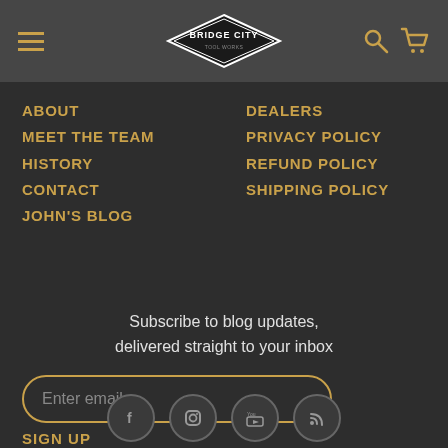[Figure (screenshot): Bridge City Tool Works website header with hamburger menu, diamond logo, search and cart icons on dark gray background]
ABOUT
MEET THE TEAM
HISTORY
CONTACT
JOHN'S BLOG
DEALERS
PRIVACY POLICY
REFUND POLICY
SHIPPING POLICY
Subscribe to blog updates, delivered straight to your inbox
Enter email
SIGN UP
[Figure (illustration): Social media icons: Facebook, Instagram, YouTube, RSS feed in circular borders]